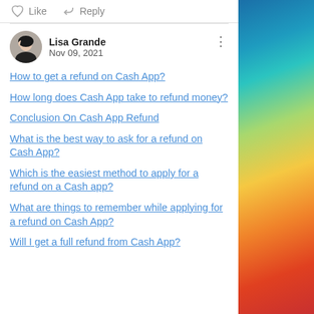Like  Reply
Lisa Grande
Nov 09, 2021
How to get a refund on Cash App?
How long does Cash App take to refund money?
Conclusion On Cash App Refund
What is the best way to ask for a refund on Cash App?
Which is the easiest method to apply for a refund on a Cash app?
What are things to remember while applying for a refund on Cash App?
Will I get a full refund from Cash App?
[Figure (photo): Colorful abstract swirl background image on right side panel — blue, teal, green, yellow, orange, red gradient]